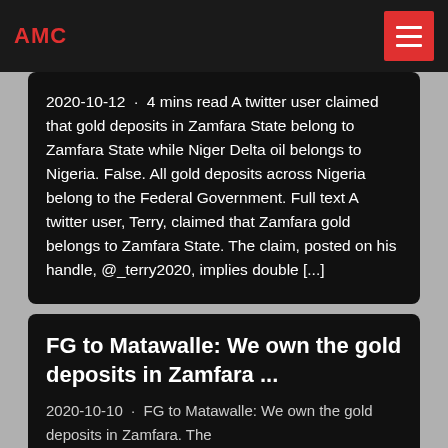AMC
2020-10-12 · 4 mins read A twitter user claimed that gold deposits in Zamfara State belong to Zamfara State while Niger Delta oil belongs to Nigeria. False. All gold deposits across Nigeria belong to the Federal Government. Full text A twitter user, Terry, claimed that Zamfara gold belongs to Zamfara State. The claim, posted on his handle, @_terry2020, implies double [...]
FG to Matawalle: We own the gold deposits in Zamfara ...
2020-10-10 · FG to Matawalle: We own the gold deposits in Zamfara. The